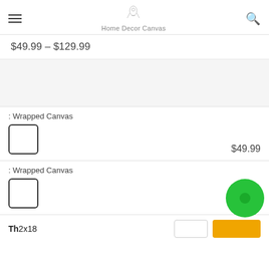Home Decor Canvas
$49.99 – $129.99
: Wrapped Canvas
$49.99
: Wrapped Canvas
$49.99
Th 2x18